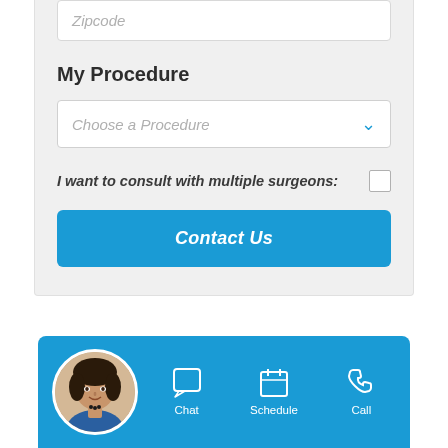Zipcode
My Procedure
Choose a Procedure
I want to consult with multiple surgeons:
Contact Us
[Figure (screenshot): Bottom chat bar with avatar photo of a woman with short dark hair, and three action buttons: Chat, Schedule, Call, on a blue background]